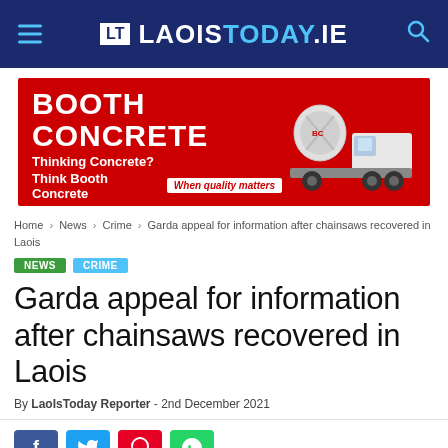LT LAOISTODAY.IE
[Figure (illustration): Booth Concrete advertisement banner with red background, showing 'BOOTH CONCRETE' in large white text, tagline 'Thinking Concrete? Think Booth Concrete', 'When quality matters' badge, contact details, and a concrete mixer truck image on the right.]
Home › News › Crime › Garda appeal for information after chainsaws recovered in Laois
NEWS  CRIME
Garda appeal for information after chainsaws recovered in Laois
By LaoIsToday Reporter - 2nd December 2021
[Figure (infographic): Social share buttons: Facebook (blue), Twitter (light blue), Pinterest (red), WhatsApp (green)]